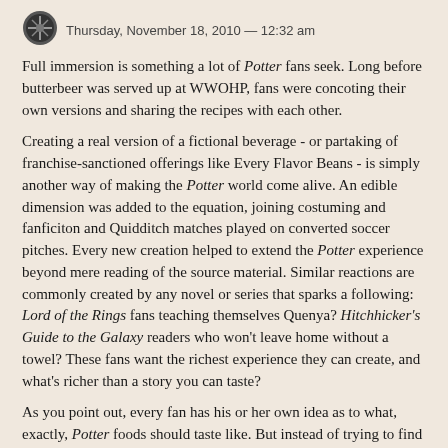Thursday, November 18, 2010 — 12:32 am
Full immersion is something a lot of Potter fans seek. Long before butterbeer was served up at WWOHP, fans were concoting their own versions and sharing the recipes with each other.
Creating a real version of a fictional beverage - or partaking of franchise-sanctioned offerings like Every Flavor Beans - is simply another way of making the Potter world come alive. An edible dimension was added to the equation, joining costuming and fanficiton and Quidditch matches played on converted soccer pitches. Every new creation helped to extend the Potter experience beyond mere reading of the source material. Similar reactions are commonly created by any novel or series that sparks a following: Lord of the Rings fans teaching themselves Quenya? Hitchhicker's Guide to the Galaxy readers who won't leave home without a towel? These fans want the richest experience they can create, and what's richer than a story you can taste?
As you point out, every fan has his or her own idea as to what, exactly, Potter foods should taste like. But instead of trying to find the perfect flavor ("What is the closest thing I can find to this?"), they are trying to create it, to actively bring this fictional item into being. And, truthfully, the flavor is less important than the experience itself: having something that makes the story come to life, that